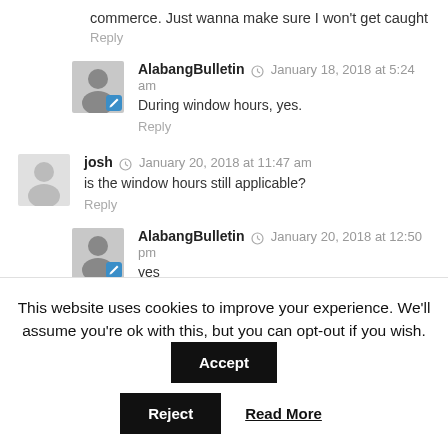commerce. Just wanna make sure I won't get caught
Reply
AlabangBulletin  January 18, 2018 at 5:24 am
During window hours, yes.
Reply
josh  January 20, 2018 at 11:47 am
is the window hours still applicable?
Reply
AlabangBulletin  January 20, 2018 at 12:50 pm
yes
This website uses cookies to improve your experience. We'll assume you're ok with this, but you can opt-out if you wish. Accept Reject Read More